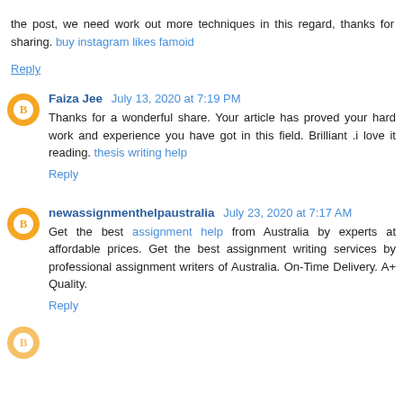the post, we need work out more techniques in this regard, thanks for sharing. buy instagram likes famoid
Reply
Faiza Jee  July 13, 2020 at 7:19 PM
Thanks for a wonderful share. Your article has proved your hard work and experience you have got in this field. Brilliant .i love it reading. thesis writing help
Reply
newassignmenthelpaustralia  July 23, 2020 at 7:17 AM
Get the best assignment help from Australia by experts at affordable prices. Get the best assignment writing services by professional assignment writers of Australia. On-Time Delivery. A+ Quality.
Reply